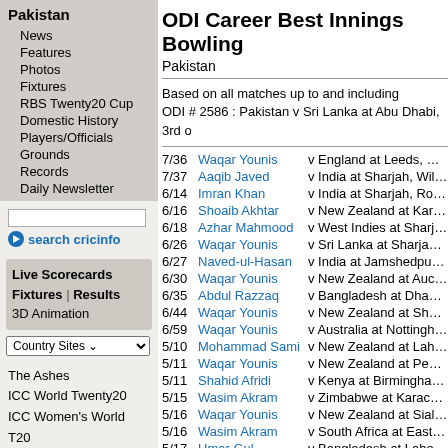Pakistan
News
Features
Photos
Fixtures
RBS Twenty20 Cup
Domestic History
Players/Officials
Grounds
Records
Daily Newsletter
search cricinfo
Live Scorecards
Fixtures | Results
3D Animation
Country Sites
The Ashes
ICC World Twenty20
ICC Women's World T20
County Cricket
Current and Future Tours
Match/series archive
News
Photos | Wallpapers
ODI Career Best Innings Bowling
Pakistan
Based on all matches up to and including
ODI # 2586 : Pakistan v Sri Lanka at Abu Dhabi, 3rd o
| Score | Player | Match |
| --- | --- | --- |
| 7/36 | Waqar Younis | v England at Leeds, NatWest |
| 7/37 | Aaqib Javed | v India at Sharjah, Wills Trop |
| 6/14 | Imran Khan | v India at Sharjah, Rothmans |
| 6/16 | Shoaib Akhtar | v New Zealand at Karachi, 1s |
| 6/18 | Azhar Mahmood | v West Indies at Sharjah, Ch |
| 6/26 | Waqar Younis | v Sri Lanka at Sharjah, Austr |
| 6/27 | Naved-ul-Hasan | v India at Jamshedpur, 3rd O |
| 6/30 | Waqar Younis | v New Zealand at Auckland, |
| 6/35 | Abdul Razzaq | v Bangladesh at Dhaka, 3rd |
| 6/44 | Waqar Younis | v New Zealand at Sharjah, C |
| 6/59 | Waqar Younis | v Australia at Nottingham, Na |
| 5/10 | Mohammad Sami | v New Zealand at Lahore, 2n |
| 5/11 | Waqar Younis | v New Zealand at Peshawar, |
| 5/11 | Shahid Afridi | v Kenya at Birmingham, ICC |
| 5/15 | Wasim Akram | v Zimbabwe at Karachi, 1st O |
| 5/16 | Waqar Younis | v New Zealand at Sialkot, 3ro |
| 5/16 | Wasim Akram | v South Africa at East London |
| 5/17 | Umar Gul | v Bangladesh at Lahore, 3rd |
| 5/19 | Wasim Akram | v New Zealand at Wellington |